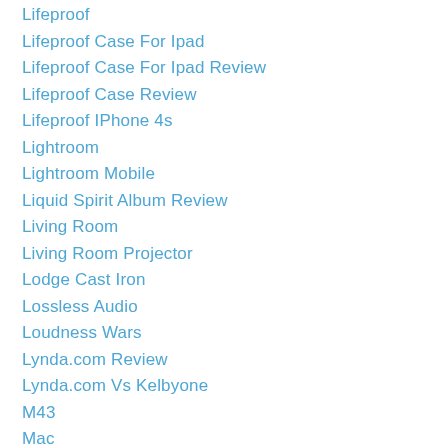Lifeproof
Lifeproof Case For Ipad
Lifeproof Case For Ipad Review
Lifeproof Case Review
Lifeproof IPhone 4s
Lightroom
Lightroom Mobile
Liquid Spirit Album Review
Living Room
Living Room Projector
Lodge Cast Iron
Lossless Audio
Loudness Wars
Lynda.com Review
Lynda.com Vs Kelbyone
M43
Mac
Mac Apps
Macbook Pro
Mac Mini